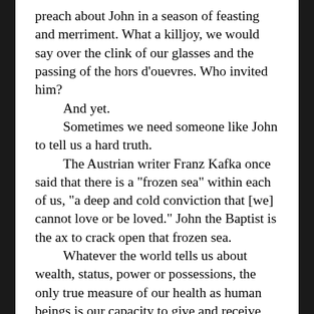preach about John in a season of feasting and merriment. What a killjoy, we would say over the clink of our glasses and the passing of the hors d'ouevres. Who invited him?
    And yet.
    Sometimes we need someone like John to tell us a hard truth.
    The Austrian writer Franz Kafka once said that there is a "frozen sea" within each of us, "a deep and cold conviction that [we] cannot love or be loved." John the Baptist is the ax to crack open that frozen sea.
    Whatever the world tells us about wealth, status, power or possessions, the only true measure of our health as human beings is our capacity to give and receive love. A love that shares what we have, refuses to use our power